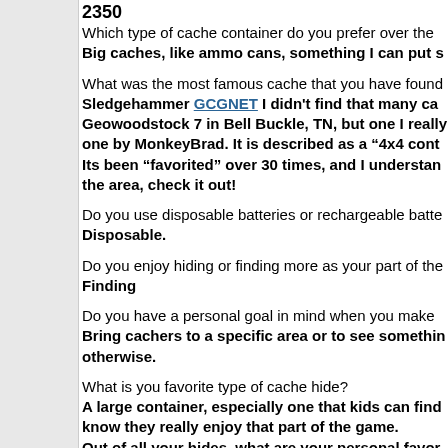2350
Which type of cache container do you prefer over the
Big caches, like ammo cans, something I can put s
What was the most famous cache that you have found
Sledgehammer GCGNET I didn't find that many ca Geowoodstock 7 in Bell Buckle, TN, but one I really one by MonkeyBrad. It is described as a "4x4 cont Its been "favorited" over 30 times, and I understan the area, check it out!
Do you use disposable batteries or rechargeable batte
Disposable.
Do you enjoy hiding or finding more as your part of the
Finding
Do you have a personal goal in mind when you make
Bring cachers to a specific area or to see somethin otherwise.
What is you favorite type of cache hide?
A large container, especially one that kids can find know they really enjoy that part of the game.
Out of all your hides, what are your personal favor